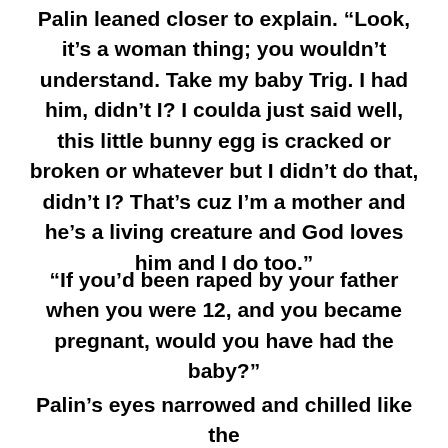Palin leaned closer to explain. “Look, it’s a woman thing; you wouldn’t understand. Take my baby Trig. I had him, didn’t I? I coulda just said well, this little bunny egg is cracked or broken or whatever but I didn’t do that, didn’t I? That’s cuz I’m a mother and he’s a living creature and God loves him and I do too.”
“If you’d been raped by your father when you were 12, and you became pregnant, would you have had the baby?”
Palin’s eyes narrowed and chilled like the